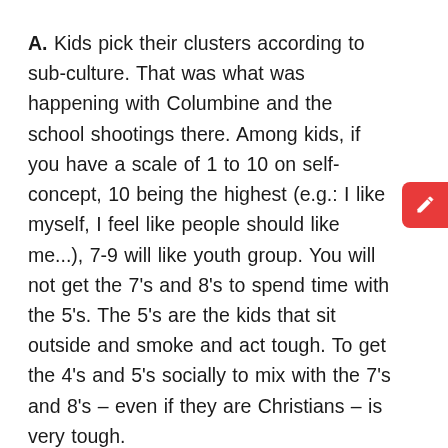A. Kids pick their clusters according to sub-culture. That was what was happening with Columbine and the school shootings there. Among kids, if you have a scale of 1 to 10 on self-concept, 10 being the highest (e.g.: I like myself, I feel like people should like me...), 7-9 will like youth group. You will not get the 7's and 8's to spend time with the 5's. The 5's are the kids that sit outside and smoke and act tough. To get the 4's and 5's socially to mix with the 7's and 8's – even if they are Christians – is very tough.